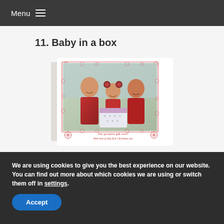Menu
11. Baby in a box
[Figure (photo): A Christmas card featuring three children — two older boys and a baby in a red bear hat — smiling with an open gift box. The card has a decorative red poinsettia floral border. Text on the card reads 'The greatest gift ever! With love at this first Christmas xxx']
We are using cookies to give you the best experience on our website.
You can find out more about which cookies we are using or switch them off in settings.
Accept